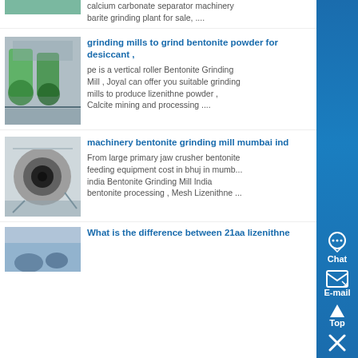[Figure (photo): Partial image of industrial grinding machinery at the top of the page]
calcium carbonate separator machinery barite grinding plant for sale, ....
[Figure (photo): Photo of ball mill grinding machines in an industrial facility]
grinding mills to grind bentonite powder for desiccant ,
pe is a vertical roller Bentonite Grinding Mill , Joyal can offer you suitable grinding mills to produce lizenithne powder , Calcite mining and processing ....
[Figure (photo): Close-up photo of a large cylindrical grinding mill opening]
machinery bentonite grinding mill mumbai ind
From large primary jaw crusher bentonite feeding equipment cost in bhuj in mumbai india Bentonite Grinding Mill India bentonite processing , Mesh Lizenithne ...
[Figure (photo): Partial photo of outdoor industrial/mining equipment at bottom of page]
What is the difference between 21aa lizenithne